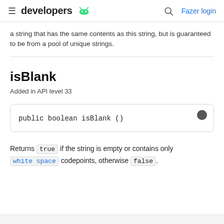developers | Fazer login
a string that has the same contents as this string, but is guaranteed to be from a pool of unique strings.
isBlank
Added in API level 33
Returns true if the string is empty or contains only white space codepoints, otherwise false.